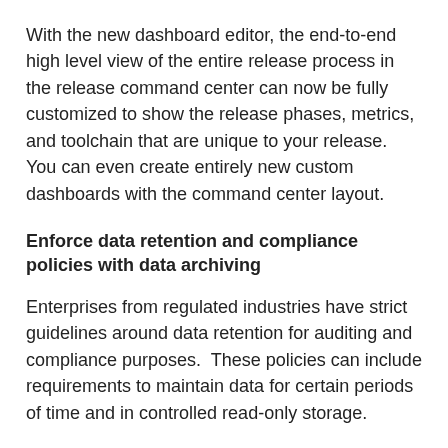With the new dashboard editor, the end-to-end high level view of the entire release process in the release command center can now be fully customized to show the release phases, metrics, and toolchain that are unique to your release.  You can even create entirely new custom dashboards with the command center layout.
Enforce data retention and compliance policies with data archiving
Enterprises from regulated industries have strict guidelines around data retention for auditing and compliance purposes.  These policies can include requirements to maintain data for certain periods of time and in controlled read-only storage.
Now with new data archiving support in CloudBees Flow, you can define complex data retention policies to